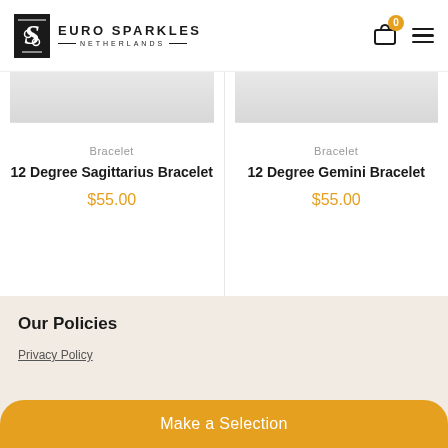[Figure (logo): Euro Sparkles Netherlands logo with stylized S icon and brand name]
Bracelet
12 Degree Sagittarius Bracelet
$55.00
Bracelet
12 Degree Gemini Bracelet
$55.00
Our Policies
Privacy Policy
Make a Selection